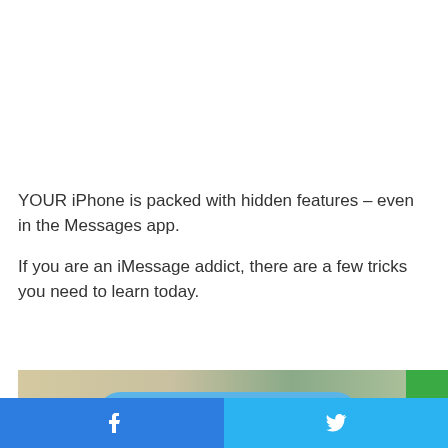YOUR iPhone is packed with hidden features – even in the Messages app.
If you are an iMessage addict, there are a few tricks you need to learn today.
[Figure (screenshot): Partial screenshot of an iPhone Messages app screenshot showing a blue speech bubble with white text starting with 'You can respond to each']
[Figure (other): Green button with white chevron/arrow up icon]
[Figure (other): Facebook share button (blue) and Twitter share button (light blue) at the bottom of the page]